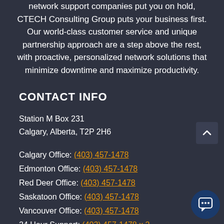network support companies put you on hold, CTECH Consulting Group puts your business first. Our world-class customer service and unique partnership approach are a step above the rest, with proactive, personalized network solutions that minimize downtime and maximize productivity.
CONTACT INFO
Station M Box 231
Calgary, Alberta, T2P 2H6
Calgary Office: (403) 457-1478
Edmonton Office: (403) 457-1478
Red Deer Office: (403) 457-1478
Saskatoon Office: (403) 457-1478
Vancouver Office: (403) 457-1478
24 Hour Support: (403) 457-1478 x 2